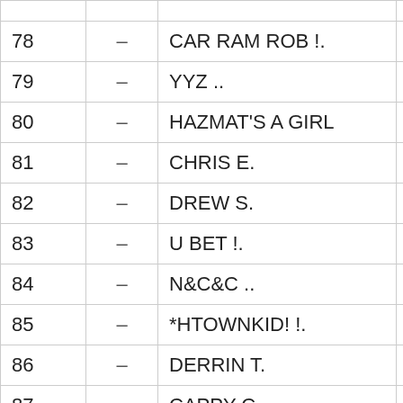| 78 | – | CAR RAM ROB !. | 883 |
| 79 | – | YYZ .. | 877 |
| 80 | – | HAZMAT'S A GIRL | 866 |
| 81 | – | CHRIS E. | 866 |
| 82 | – | DREW S. | 862 |
| 83 | – | U BET !. | 849 |
| 84 | – | N&C&C .. | 846 |
| 85 | – | *HTOWNKID! !. | 825 |
| 86 | – | DERRIN T. | 823 |
| 87 | – | CAPPY C. | 821 |